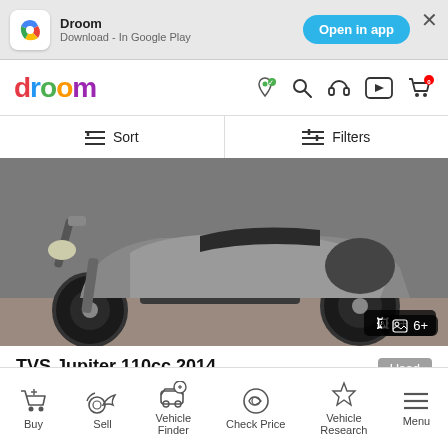[Figure (screenshot): App download banner for Droom app with Google Play link and Open in app button]
[Figure (logo): Droom website navigation bar with colorful logo and icons for location, search, headphones, video, and cart]
[Figure (screenshot): Sort and Filters bar with hamburger icons]
[Figure (photo): TVS Jupiter scooter side profile photo with 6+ image badge]
TVS Jupiter 110cc 2014
₹ 35,000
[Figure (screenshot): Bottom navigation bar with Buy, Sell, Vehicle Finder, Check Price, Vehicle Research, Menu icons]